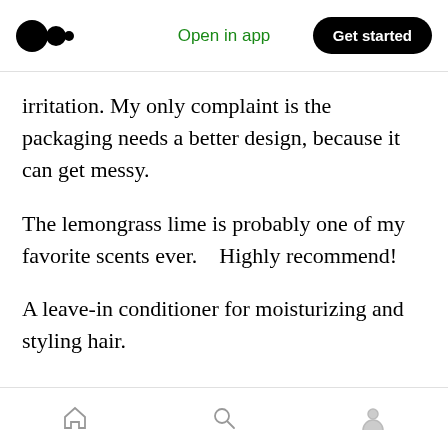Medium app navigation bar with logo, Open in app link, and Get started button
irritation. My only complaint is the packaging needs a better design, because it can get messy.
The lemongrass lime is probably one of my favorite scents ever.    Highly recommend!
A leave-in conditioner for moisturizing and styling hair.
All natural and no harsh chemicals.
In keeping with the philanthropy mentality at Dr. Bronner's, 2% of their hand sanitizer production
Bottom navigation bar with home, search, and profile icons